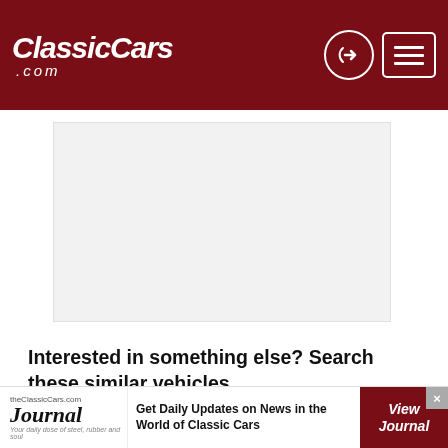ClassicCars.com
[Figure (photo): Car listing photo placeholder — light gray rectangle]
Interested in something else? Search these similar vehicles...
SIMILAR VEHICLES
[Figure (infographic): Ad banner: TheClassicCars.com Journal — Get Daily Updates on News in the World of Classic Cars — View Journal button]